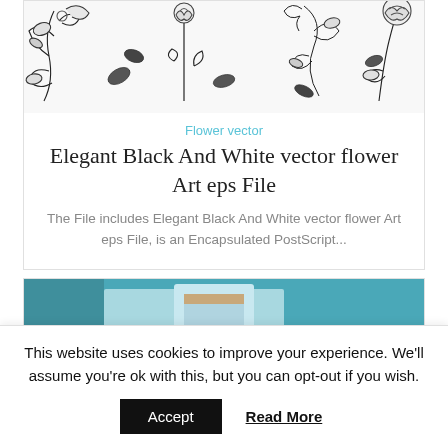[Figure (illustration): Black and white vector flower illustrations/drawings on white background — roses, stems, leaves in elegant line art style]
Flower vector
Elegant Black And White vector flower Art eps File
The File includes Elegant Black And White vector flower Art eps File, is an Encapsulated PostScript...
[Figure (photo): A teal/blue background with a light blue box/container and white cursive text reading 'CoolFlower']
This website uses cookies to improve your experience. We'll assume you're ok with this, but you can opt-out if you wish.
Accept    Read More